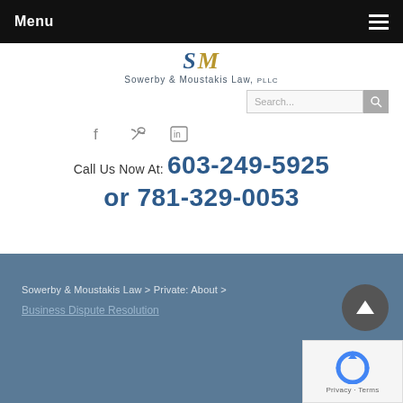Menu
[Figure (logo): SM Sowerby & Moustakis Law, PLLC logo with stylized SM monogram]
Call Us Now At: 603-249-5925 or 781-329-0053
Sowerby & Moustakis Law > Private: About > Business Dispute Resolution